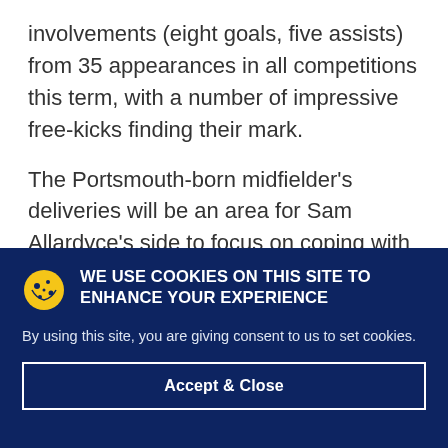involvements (eight goals, five assists) from 35 appearances in all competitions this term, with a number of impressive free-kicks finding their mark.
The Portsmouth-born midfielder's deliveries will be an area for Sam Allardyce's side to focus on coping with during Monday's clash.
WE USE COOKIES ON THIS SITE TO ENHANCE YOUR EXPERIENCE
By using this site, you are giving consent to us to set cookies.
Accept & Close